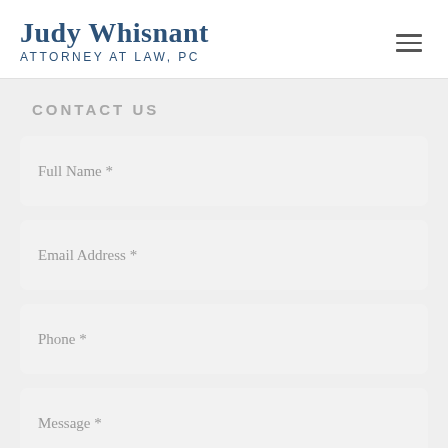Judy Whisnant Attorney At Law, PC
CONTACT US
Full Name *
Email Address *
Phone *
Message *